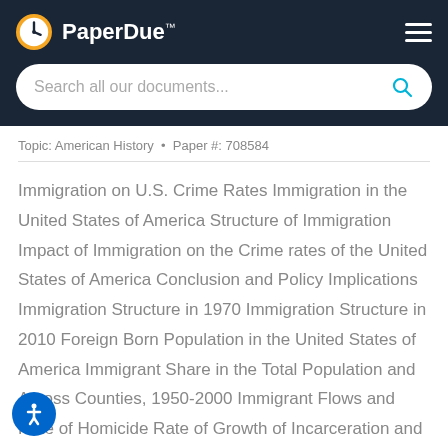PaperDue™
Search all our documents...
Topic: American History  •  Paper #: 708584
Immigration on U.S. Crime Rates Immigration in the United States of America Structure of Immigration Impact of Immigration on the Crime rates of the United States of America Conclusion and Policy Implications Immigration Structure in 1970 Immigration Structure in 2010 Foreign Born Population in the United States of America Immigrant Share in the Total Population and Across Counties, 1950-2000 Immigrant Flows and Rate of Homicide Rate of Growth of Incarceration and Immigration Reasons for the Removal of Criminal Immigrants This paper